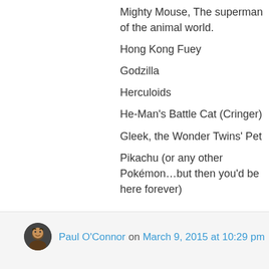Mighty Mouse, The superman of the animal world.
Hong Kong Fuey
Godzilla
Herculoids
He-Man's Battle Cat (Cringer)
Gleek, the Wonder Twins' Pet
Pikachu (or any other Pokémon…but then you'd be here forever)
★ Like
👍 3 👎 0 ℹ Rate This
↳ Reply
Paul O'Connor on March 9, 2015 at 10:29 pm